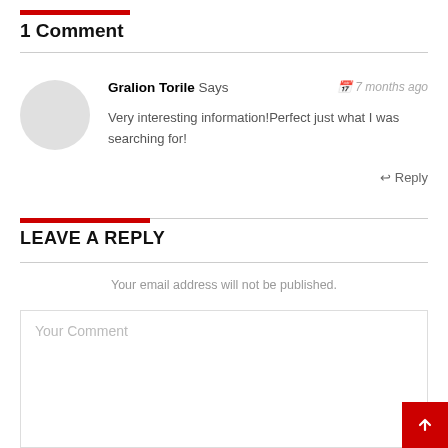1 Comment
Gralion Torile Says — 7 months ago — Very interesting information!Perfect just what I was searching for! — Reply
LEAVE A REPLY
Your email address will not be published.
Your Comment